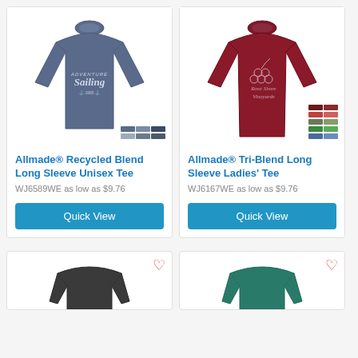[Figure (photo): Allmade Recycled Blend Long Sleeve Unisex Tee in heather navy with sailing graphic and color swatches]
Allmade® Recycled Blend Long Sleeve Unisex Tee
WJ6589WE as low as $9.76
[Figure (photo): Allmade Tri-Blend Long Sleeve Ladies' Tee in heather cardinal with Rose Shore Vineyards graphic and color swatches]
Allmade® Tri-Blend Long Sleeve Ladies' Tee
WJ6167WE as low as $9.76
[Figure (photo): Bottom left product card showing a dark long sleeve tee, partially visible]
[Figure (photo): Bottom right product card showing a teal/green long sleeve tee, partially visible]